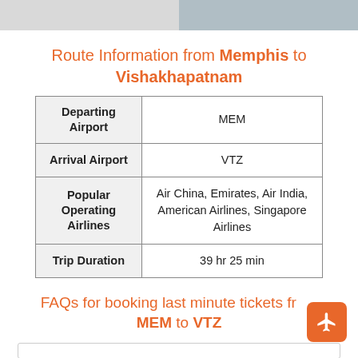[Figure (other): Two-tone header bar: left half light gray, right half blue-gray]
Route Information from Memphis to Vishakhapatnam
| Departing Airport | MEM |
| Arrival Airport | VTZ |
| Popular Operating Airlines | Air China, Emirates, Air India, American Airlines, Singapore Airlines |
| Trip Duration | 39 hr 25 min |
FAQs for booking last minute tickets from MEM to VTZ